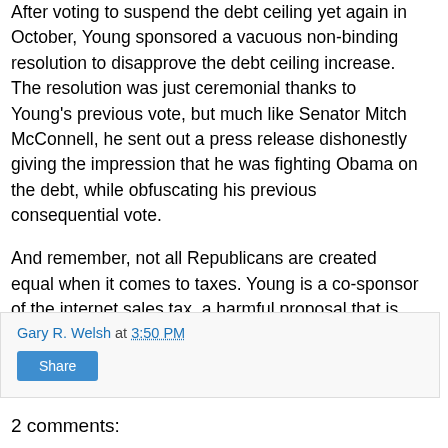After voting to suspend the debt ceiling yet again in October, Young sponsored a vacuous non-binding resolution to disapprove the debt ceiling increase.  The resolution was just ceremonial thanks to Young's previous vote, but much like Senator Mitch McConnell, he sent out a press release dishonestly giving the impression that he was fighting Obama on the debt, while obfuscating his previous consequential vote.
And remember, not all Republicans are created equal when it comes to taxes. Young is a co-sponsor of the internet sales tax, a harmful proposal that is gaining steam with the K Street crowd . . .
Gary R. Welsh at 3:50 PM
Share
2 comments: